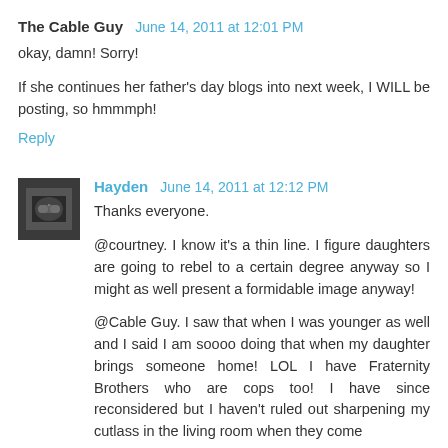The Cable Guy  June 14, 2011 at 12:01 PM
okay, damn! Sorry!
If she continues her father's day blogs into next week, I WILL be posting, so hmmmph!
Reply
[Figure (photo): Small avatar photo showing a person, dark tones, appears to be wearing glasses]
Hayden  June 14, 2011 at 12:12 PM
Thanks everyone.
@courtney. I know it's a thin line. I figure daughters are going to rebel to a certain degree anyway so I might as well present a formidable image anyway!
@Cable Guy. I saw that when I was younger as well and I said I am soooo doing that when my daughter brings someone home! LOL I have Fraternity Brothers who are cops too! I have since reconsidered but I haven't ruled out sharpening my cutlass in the living room when they come